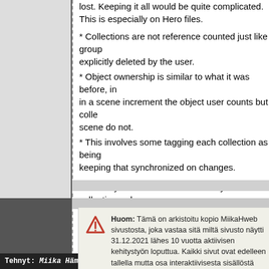lost. Keeping it all would be quite complicated. This is especially on Hero files.
* Collections are not reference counted just like groups, explicitly deleted by the user.
* Object ownership is similar to what it was before, in a scene increment the object user counts but collections in a scene do not.
* This involves some tagging each collection as being keeping that synchronized on changes.
* View layers each have a tree of layer collections which mirrors the collection tree (including linked collections). This requires more complicated synchronization as collections can change.
Huom: Tämä on arkistoitu kopio MiikaHweb sivustosta, joka vastaa sitä miltä sivusto näytti 31.12.2021 lähes 10 vuotta aktiivisen kehitystyön loputtua. Kaikki sivut ovat edelleen tallella mutta osa interaktiivisesta sisällöstä puuttuu.
Tehnyt: Miika Hämäläinen    Viimeksi päivitetty: 0